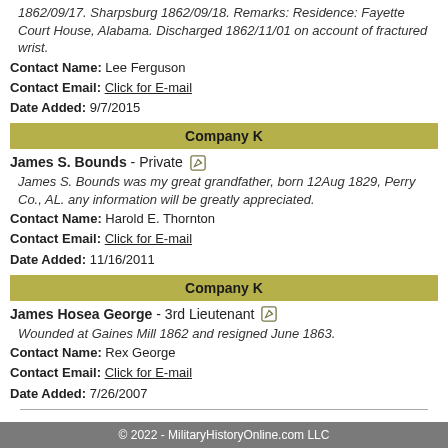1862/09/17. Sharpsburg 1862/09/18. Remarks: Residence: Fayette Court House, Alabama. Discharged 1862/11/01 on account of fractured wrist.
Contact Name: Lee Ferguson
Contact Email: Click for E-mail
Date Added: 9/7/2015
Company K
James S. Bounds - Private
James S. Bounds was my great grandfather, born 12Aug 1829, Perry Co., AL. any information will be greatly appreciated.
Contact Name: Harold E. Thornton
Contact Email: Click for E-mail
Date Added: 11/16/2011
Company K
James Hosea George - 3rd Lieutenant
Wounded at Gaines Mill 1862 and resigned June 1863.
Contact Name: Rex George
Contact Email: Click for E-mail
Date Added: 7/26/2007
© 2022 - MilitaryHistoryOnline.com LLC